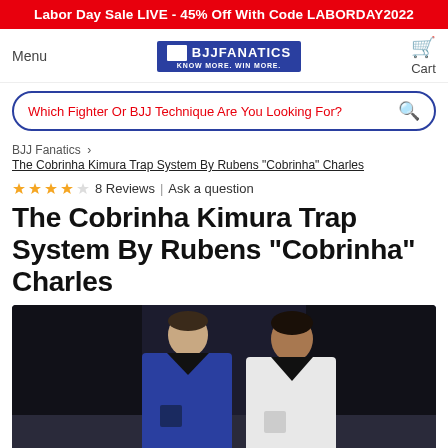Labor Day Sale LIVE - 45% Off With Code LABORDAY2022
[Figure (logo): BJJ Fanatics logo with navigation menu and cart icon]
Which Fighter Or BJJ Technique Are You Looking For?
BJJ Fanatics  ›
The Cobrinha Kimura Trap System By Rubens "Cobrinha" Charles
8 Reviews  |  Ask a question
The Cobrinha Kimura Trap System By Rubens "Cobrinha" Charles
[Figure (photo): Two BJJ practitioners in gi uniforms standing in front of a dark mat wall — one in a blue gi, one in a white gi]